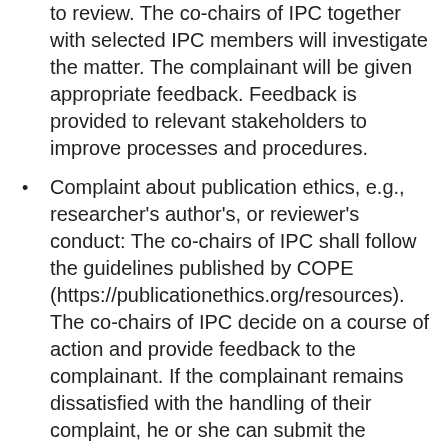to review. The co-chairs of IPC together with selected IPC members will investigate the matter. The complainant will be given appropriate feedback. Feedback is provided to relevant stakeholders to improve processes and procedures.
Complaint about publication ethics, e.g., researcher's author's, or reviewer's conduct: The co-chairs of IPC shall follow the guidelines published by COPE (https://publicationethics.org/resources). The co-chairs of IPC decide on a course of action and provide feedback to the complainant. If the complainant remains dissatisfied with the handling of their complaint, he or she can submit the complaint to the COPE. More information can be found at this link: https://publicationethics.org/facilitation-